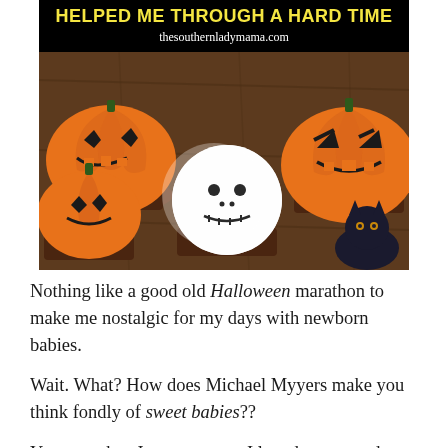[Figure (photo): Blog post image showing Halloween-decorated cupcakes with pumpkin jack-o-lantern frosting and a white ghost cupcake, with a black cat cookie. Black header bar reads 'HELPED ME THROUGH A HARD TIME' in yellow, and 'thesouthernladymama.com' in white cursive below.]
Nothing like a good old Halloween marathon to make me nostalgic for my days with newborn babies.
Wait. What? How does Michael Myyers make you think fondly of sweet babies??
You see when I was younger I loved me a good horror movie. The scarier, the better in my opinion. I watched that majority of it through my hands or a blanket up to my face,